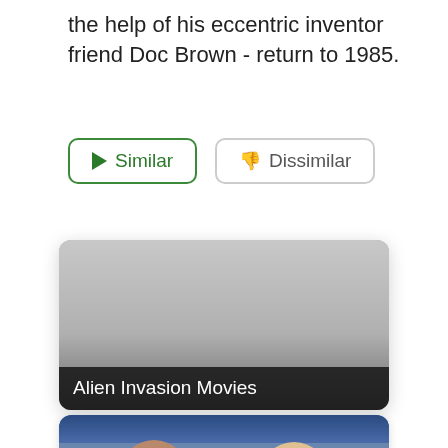the help of his eccentric inventor friend Doc Brown - return to 1985.
[Figure (screenshot): Two UI buttons: 'Similar' with a green play icon and green border, and 'Dissimilar' with a thumbs-down icon and grey border]
[Figure (screenshot): A movie category card with grey background and label 'Alien Invasion Movies' at the bottom]
[Figure (photo): A partial photo showing two people (a man and a woman) in a car, visible from shoulders up, with blue car roof and landscape background]